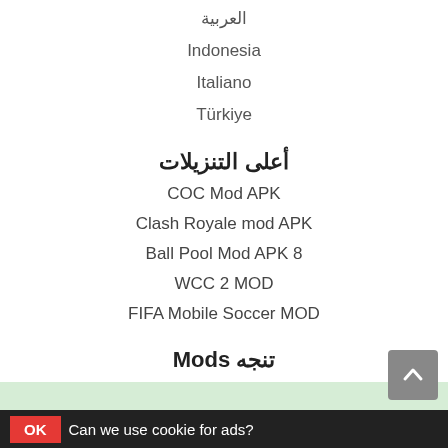العربية
Indonesia
Italiano
Türkiye
أعلى التنزيلات
COC Mod APK
Clash Royale mod APK
Ball Pool Mod APK 8
WCC 2 MOD
FIFA Mobile Soccer MOD
تنجه Mods
Minecraft mod apk
Mobile Legends MOD apk
OK ?Can we use cookie for ads